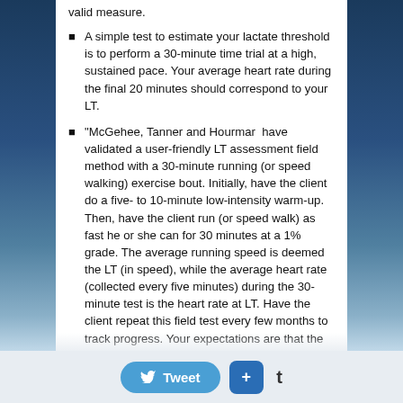valid measure.
A simple test to estimate your lactate threshold is to perform a 30-minute time trial at a high, sustained pace. Your average heart rate during the final 20 minutes should correspond to your LT.
"McGehee, Tanner and Hourmar  have validated a user-friendly LT assessment field method with a 30-minute running (or speed walking) exercise bout. Initially, have the client do a five- to 10-minute low-intensity warm-up. Then, have the client run (or speed walk) as fast he or she can for 30 minutes at a 1% grade. The average running speed is deemed the LT (in speed), while the average heart rate (collected every five minutes) during the 30-minute test is the heart rate at LT. Have the client repeat this field test every few months to track progress. Your expectations are that the client will increase his or her running speed while exercising at the same (or similar) heart-rate intensity, thus confirming improvements in aerobic fitness.
Tweet  +  t